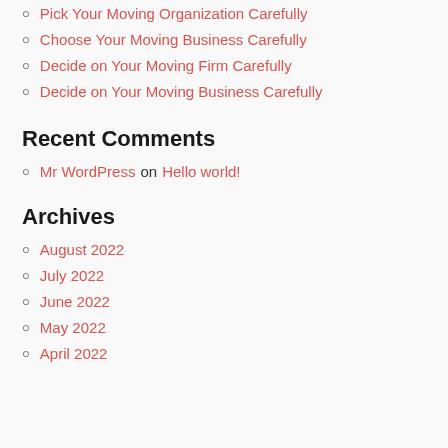Pick Your Moving Organization Carefully
Choose Your Moving Business Carefully
Decide on Your Moving Firm Carefully
Decide on Your Moving Business Carefully
Recent Comments
Mr WordPress on Hello world!
Archives
August 2022
July 2022
June 2022
May 2022
April 2022